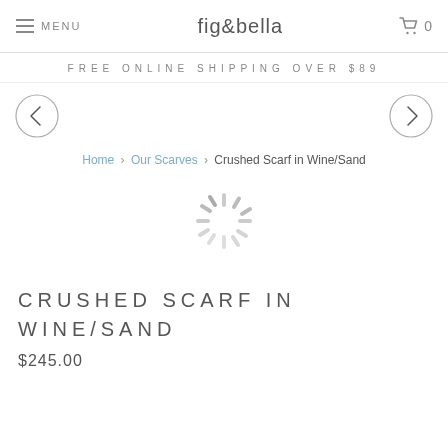MENU  fig&bella  0
FREE ONLINE SHIPPING OVER $89
[Figure (illustration): Left and right navigation arrow circles for product image carousel]
Home › Our Scarves › Crushed Scarf in Wine/Sand
[Figure (illustration): Loading spinner icon]
CRUSHED SCARF IN WINE/SAND
$245.00